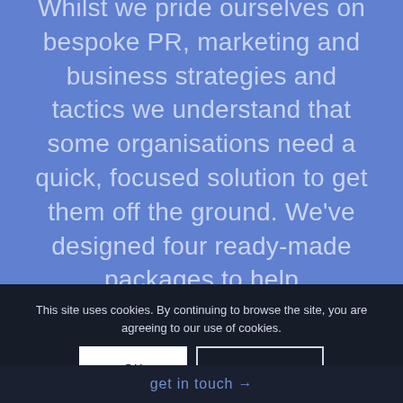Whilst we pride ourselves on bespoke PR, marketing and business strategies and tactics we understand that some organisations need a quick, focused solution to get them off the ground. We've designed four ready-made packages to help
This site uses cookies. By continuing to browse the site, you are agreeing to our use of cookies.
OK
Learn more
get in touch →